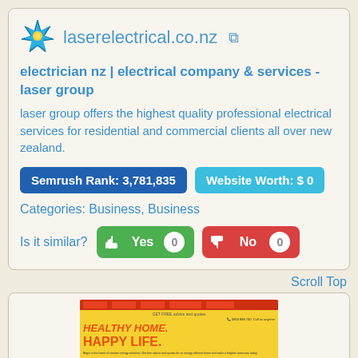laserelectrical.co.nz
electrician nz | electrical company & services - laser group
laser group offers the highest quality professional electrical services for residential and commercial clients all over new zealand.
Semrush Rank: 3,781,835
Website Worth: $ 0
Categories: Business, Business
Is it similar? Yes 0  No 0
Scroll Top
[Figure (screenshot): Website screenshot of laserelectrical.co.nz showing a yellow background with orange/red bold text reading HEALTHY HOME. HAPPY LIFE. with a red navigation bar and small body text.]